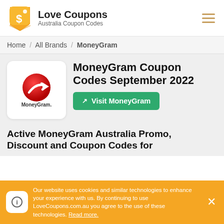[Figure (logo): Love Coupons logo — orange/yellow tag with dollar sign, and 'Love Coupons / Australia Coupon Codes' text]
Love Coupons Australia Coupon Codes
Home / All Brands / MoneyGram
[Figure (logo): MoneyGram logo — red sphere with white arrow, 'MoneyGram.' text below]
MoneyGram Coupon Codes September 2022
Visit MoneyGram
Active MoneyGram Australia Promo, Discount and Coupon Codes for
Our website uses cookies and similar technologies to enhance your experience with us. By continuing to use LoveCoupons.com.au you agree to the use of these technologies. Read more.